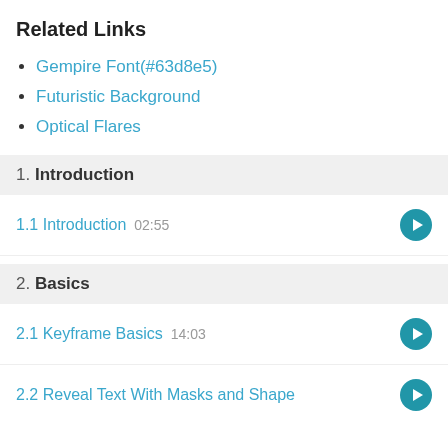Related Links
Gempire Font(#63d8e5)
Futuristic Background
Optical Flares
1. Introduction
1.1 Introduction  02:55
2. Basics
2.1 Keyframe Basics  14:03
2.2 Reveal Text With Masks and Shape